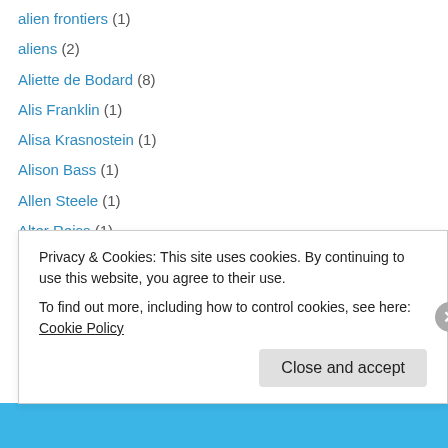alien frontiers (1)
aliens (2)
Aliette de Bodard (8)
Alis Franklin (1)
Alisa Krasnostein (1)
Alison Bass (1)
Allen Steele (1)
Alter Reiss (1)
alternate history (4)
AMA (1)
Amal El-Mohtar (1)
Amanda J. McGee (1)
Andre Norton (8)
Privacy & Cookies: This site uses cookies. By continuing to use this website, you agree to their use.
To find out more, including how to control cookies, see here: Cookie Policy
Close and accept